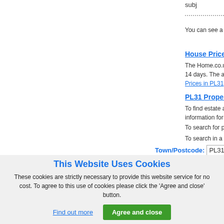subj
You can see a list of All Property for Sale in PL3...
House Prices in PL31
The Home.co.uk property search contains 57 li... 14 days. The average price of property for sale... Prices in PL31
PL31 Property Information
To find estate agents with property for sale in P... information for PL31, please see: PL31 Propert...
To search for property for sale in areas neighbo...
To search in a different location enter a town or...
Town/Postcode: PL31
This Website Uses Cookies
These cookies are strictly necessary to provide this website service for no cost. To agree to this use of cookies please click the 'Agree and close' button.
Find out more
Agree and close